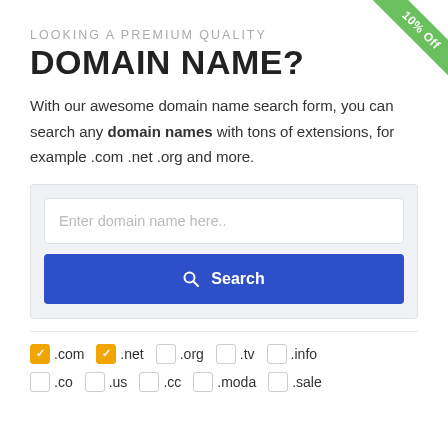[Figure (illustration): Green diagonal ribbon in top-right corner with text '10% Off']
LOOKING A PREMIUM QUALITY
DOMAIN NAME?
With our awesome domain name search form, you can search any domain names with tons of extensions, for example .com .net .org and more.
[Figure (screenshot): Domain name search form with text input placeholder 'Enter domain name here..' and a blue Search button]
.com (checked), .net (checked), .org (unchecked), .tv (unchecked), .info (unchecked)
.co (unchecked), .us (unchecked), .cc (unchecked), .moda (unchecked), .sale (unchecked)